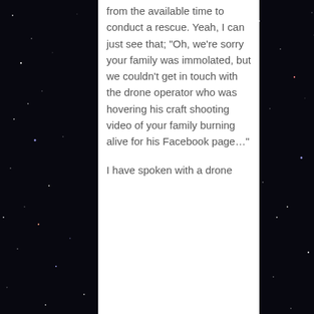[Figure (photo): Dark starfield / space background image visible on both sides of the white content column]
from the available time to conduct a rescue. Yeah, I can just see that; "Oh, we're sorry your family was immolated, but we couldn't get in touch with the drone operator who was hovering his craft shooting video of your family burning alive for his Facebook page…"
I have spoken with a drone